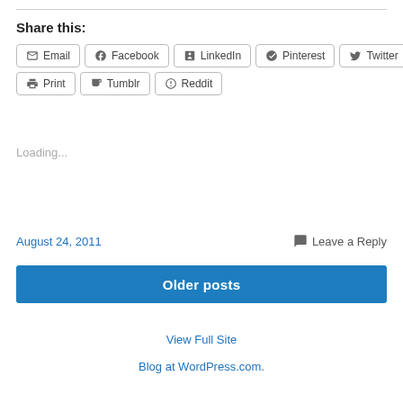Share this:
Email
Facebook
LinkedIn
Pinterest
Twitter
Print
Tumblr
Reddit
Loading...
August 24, 2011
Leave a Reply
Older posts
View Full Site
Blog at WordPress.com.